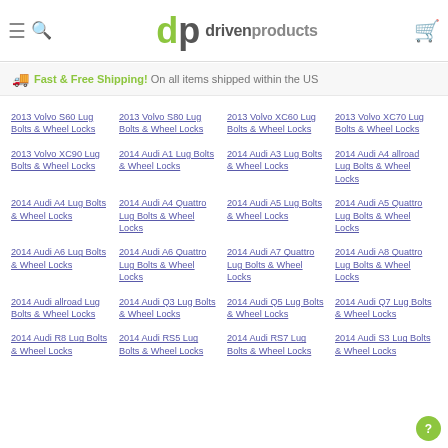dp drivenproducts
Fast & Free Shipping! On all items shipped within the US
2013 Volvo S60 Lug Bolts & Wheel Locks
2013 Volvo S80 Lug Bolts & Wheel Locks
2013 Volvo XC60 Lug Bolts & Wheel Locks
2013 Volvo XC70 Lug Bolts & Wheel Locks
2013 Volvo XC90 Lug Bolts & Wheel Locks
2014 Audi A1 Lug Bolts & Wheel Locks
2014 Audi A3 Lug Bolts & Wheel Locks
2014 Audi A4 allroad Lug Bolts & Wheel Locks
2014 Audi A4 Lug Bolts & Wheel Locks
2014 Audi A4 Quattro Lug Bolts & Wheel Locks
2014 Audi A5 Lug Bolts & Wheel Locks
2014 Audi A5 Quattro Lug Bolts & Wheel Locks
2014 Audi A6 Lug Bolts & Wheel Locks
2014 Audi A6 Quattro Lug Bolts & Wheel Locks
2014 Audi A7 Quattro Lug Bolts & Wheel Locks
2014 Audi A8 Quattro Lug Bolts & Wheel Locks
2014 Audi allroad Lug Bolts & Wheel Locks
2014 Audi Q3 Lug Bolts & Wheel Locks
2014 Audi Q5 Lug Bolts & Wheel Locks
2014 Audi Q7 Lug Bolts & Wheel Locks
2014 Audi R8 Lug Bolts & Wheel Locks
2014 Audi RS5 Lug Bolts & Wheel Locks
2014 Audi RS7 Lug Bolts & Wheel Locks
2014 Audi S3 Lug Bolts & Wheel Locks